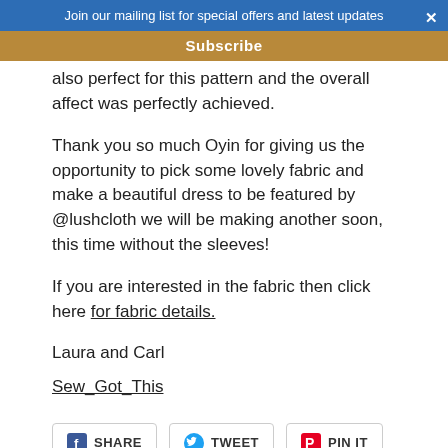Join our mailing list for special offers and latest updates
Subscribe
also perfect for this pattern and the overall affect was perfectly achieved.
Thank you so much Oyin for giving us the opportunity to pick some lovely fabric and make a beautiful dress to be featured by @lushcloth we will be making another soon, this time without the sleeves!
If you are interested in the fabric then click here for fabric details.
Laura and Carl
Sew_Got_This
SHARE  TWEET  PIN IT